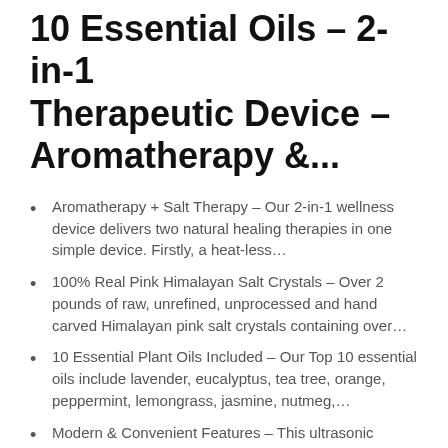10 Essential Oils – 2-in-1 Therapeutic Device – Aromatherapy &...
Aromatherapy + Salt Therapy – Our 2-in-1 wellness device delivers two natural healing therapies in one simple device. Firstly, a heat-less…
100% Real Pink Himalayan Salt Crystals – Over 2 pounds of raw, unrefined, unprocessed and hand carved Himalayan pink salt crystals containing over…
10 Essential Plant Oils Included – Our Top 10 essential oils include lavender, eucalyptus, tea tree, orange, peppermint, lemongrass, jasmine, nutmeg,…
Modern & Convenient Features – This ultrasonic diffuser does not use heat. Instead it atomizes water and oils through ultrasonic vibrations – this…